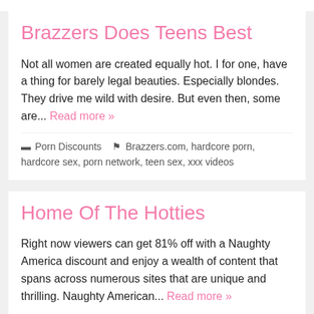Brazzers Does Teens Best
Not all women are created equally hot. I for one, have a thing for barely legal beauties. Especially blondes. They drive me wild with desire. But even then, some are... Read more »
Porn Discounts   Brazzers.com, hardcore porn, hardcore sex, porn network, teen sex, xxx videos
Home Of The Hotties
Right now viewers can get 81% off with a Naughty America discount and enjoy a wealth of content that spans across numerous sites that are unique and thrilling. Naughty American... Read more »